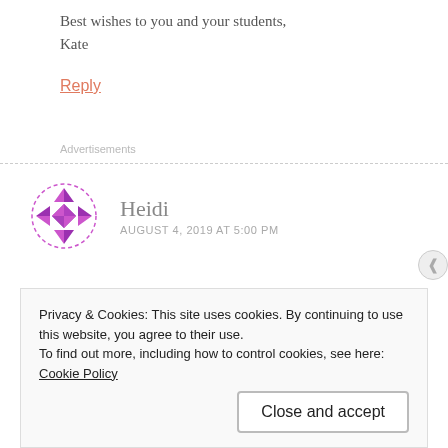Best wishes to you and your students,
Kate
Reply
Advertisements
Heidi
AUGUST 4, 2019 AT 5:00 PM
Privacy & Cookies: This site uses cookies. By continuing to use this website, you agree to their use.
To find out more, including how to control cookies, see here: Cookie Policy
Close and accept